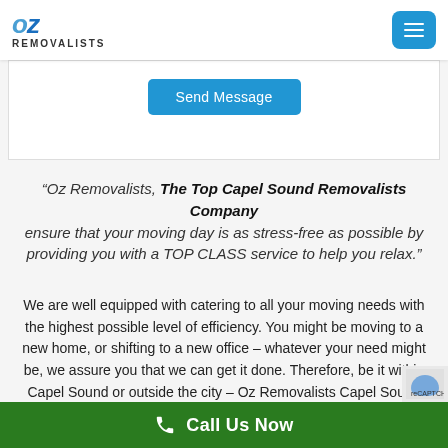OZ REMOVALISTS
[Figure (screenshot): Send Message button on a white form panel]
"Oz Removalists, The Top Capel Sound Removalists Company ensure that your moving day is as stress-free as possible by providing you with a TOP CLASS service to help you relax."
We are well equipped with catering to all your moving needs with the highest possible level of efficiency. You might be moving to a new home, or shifting to a new office – whatever your need might be, we assure you that we can get it done. Therefore, be it within Capel Sound or outside the city – Oz Removalists Capel Sound will always be there to help you out with our affordable and cheap yet high-grade removal services.
Call Us Now